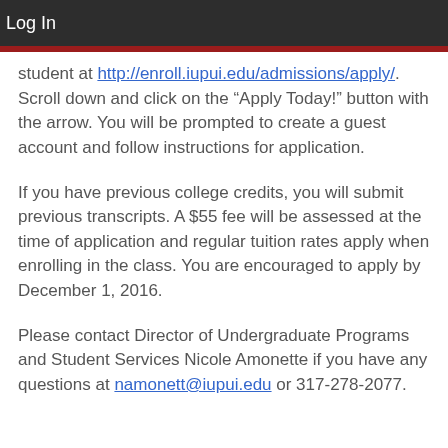Log In
student at http://enroll.iupui.edu/admissions/apply/. Scroll down and click on the “Apply Today!” button with the arrow. You will be prompted to create a guest account and follow instructions for application.
If you have previous college credits, you will submit previous transcripts. A $55 fee will be assessed at the time of application and regular tuition rates apply when enrolling in the class. You are encouraged to apply by December 1, 2016.
Please contact Director of Undergraduate Programs and Student Services Nicole Amonette if you have any questions at namonett@iupui.edu or 317-278-2077.